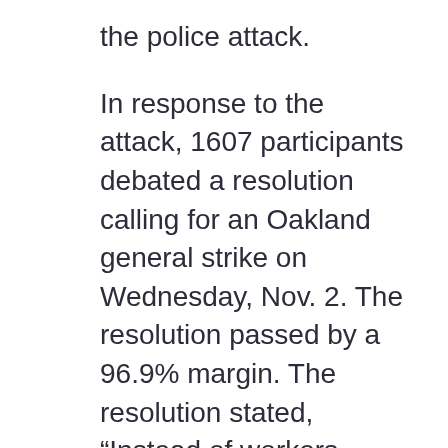the police attack.
In response to the attack, 1607 participants debated a resolution calling for an Oakland general strike on Wednesday, Nov. 2. The resolution passed by a 96.9% margin. The resolution stated, “Instead of workers going to work and students going to school, the people will converge on downtown Oakland to shut down the city. … All banks and corporations should close down for the day or we will march on them. … The whole world is watching Oakland. Let’s show them what is possible.”